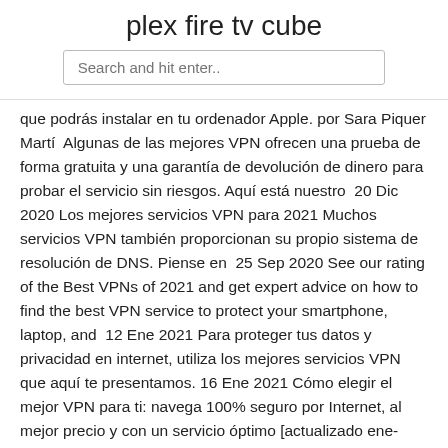plex fire tv cube
Search and hit enter..
que podrás instalar en tu ordenador Apple. por Sara Piquer Martí  Algunas de las mejores VPN ofrecen una prueba de forma gratuita y una garantía de devolución de dinero para probar el servicio sin riesgos. Aquí está nuestro  20 Dic 2020 Los mejores servicios VPN para 2021 Muchos servicios VPN también proporcionan su propio sistema de resolución de DNS. Piense en  25 Sep 2020 See our rating of the Best VPNs of 2021 and get expert advice on how to find the best VPN service to protect your smartphone, laptop, and  12 Ene 2021 Para proteger tus datos y privacidad en internet, utiliza los mejores servicios VPN que aquí te presentamos. 16 Ene 2021 Cómo elegir el mejor VPN para ti: navega 100% seguro por Internet, al mejor precio y con un servicio óptimo [actualizado ene-2021] Los mejores servicios de VPN: 10 mejores VPN comparadas.
Los Mejores Servicios de VPN de